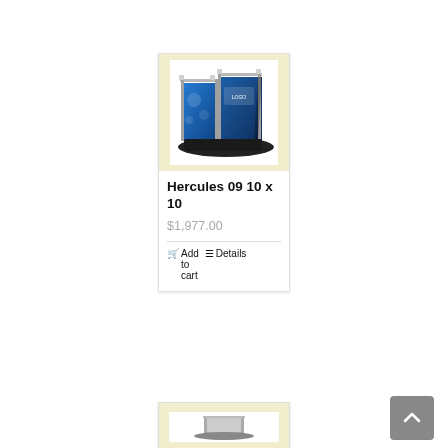[Figure (photo): Product image of Hercules 09 10x10 trade show display — a truss-style booth with blue graphic panels and metallic frame on a dark floor mat]
Hercules 09 10 x 10
$1,977.00
Add to cart
Details
[Figure (photo): Partial view of a second product image at the bottom of the page]